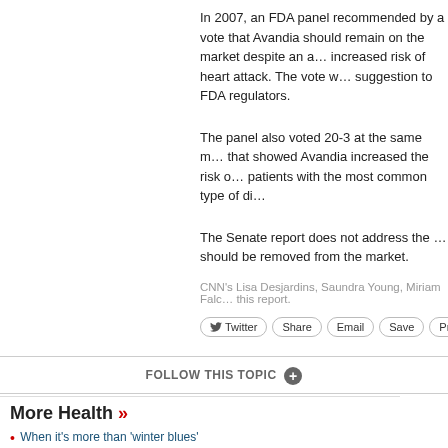In 2007, an FDA panel recommended by a vote that Avandia should remain on the market despite an association with increased risk of heart attack. The vote was only a suggestion to FDA regulators.
The panel also voted 20-3 at the same meeting on a study that showed Avandia increased the risk of heart failure in patients with the most common type of diabetes.
The Senate report does not address the recommendation it should be removed from the market.
CNN’s Lisa Desjardins, Saundra Young, Miriam Falco contributed to this report.
FOLLOW THIS TOPIC
More Health »
When it’s more than ‘winter blues’